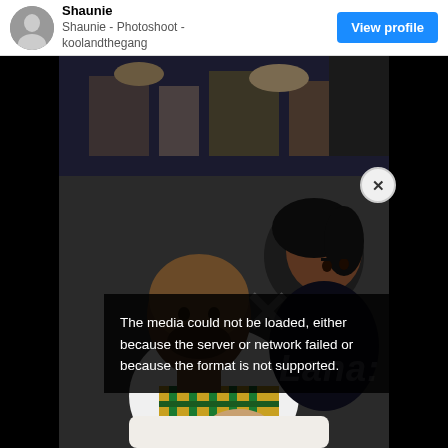Shaunie - Photoshoot - koolandthegang
[Figure (photo): Social media post showing a couple (man in white polo and plaid pants, woman with styled hair) in a photo shoot setting, with a video player overlay showing an error message: 'The media could not be loaded, either because the server or network failed or because the format is not supported.' A close button (X) appears top-right of the overlay. Black bars on left and right sides of the photo. A watermark with 'Lana' and an X symbol visible behind the error overlay.]